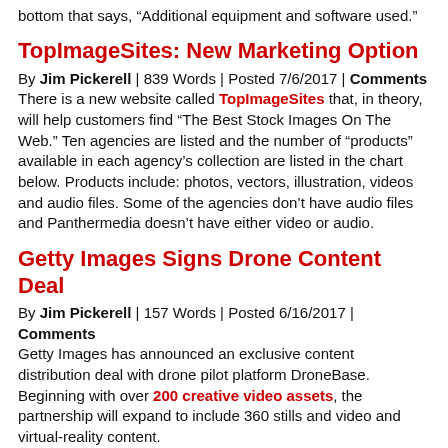bottom that says, “Additional equipment and software used.”
TopImageSites: New Marketing Option
By Jim Pickerell | 839 Words | Posted 7/6/2017 | Comments There is a new website called TopImageSites that, in theory, will help customers find “The Best Stock Images On The Web.” Ten agencies are listed and the number of “products” available in each agency’s collection are listed in the chart below. Products include: photos, vectors, illustration, videos and audio files. Some of the agencies don’t have audio files and Panthermedia doesn’t have either video or audio.
Getty Images Signs Drone Content Deal
By Jim Pickerell | 157 Words | Posted 6/16/2017 | Comments Getty Images has announced an exclusive content distribution deal with drone pilot platform DroneBase. Beginning with over 200 creative video assets, the partnership will expand to include 360 stills and video and virtual-reality content.
Future Growth Potential For Stock Video
By Jim Pickerell | 818 Words | Posted 6/8/2017 | Comments